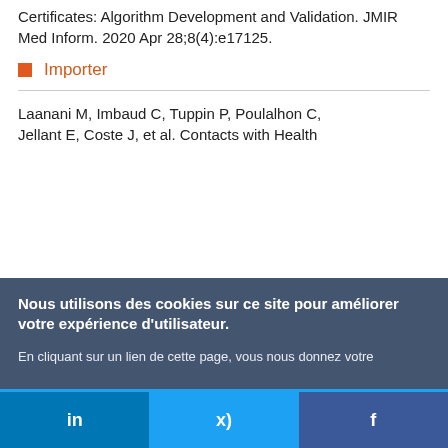Classifying Cause of Death From Death Certificates: Algorithm Development and Validation. JMIR Med Inform. 2020 Apr 28;8(4):e17125.
■ Importer
Laanani M, Imbaud C, Tuppin P, Poulalhon C, Jellant E, Coste J, et al. Contacts with Health...
Nous utilisons des cookies sur ce site pour améliorer votre expérience d'utilisateur.

En cliquant sur un lien de cette page, vous nous donnez votre consentement de définir des cookies.
Oui, je suis d'accord | Plus d'infos
in  |  🐦  |  f